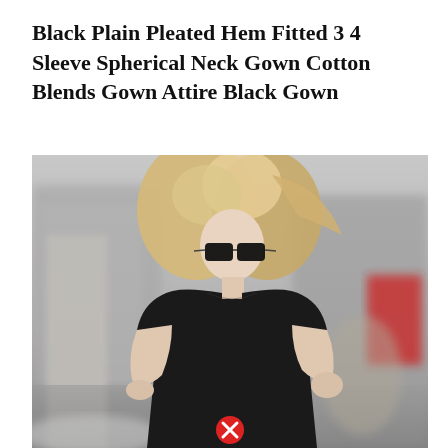Black Plain Pleated Hem Fitted 3 4 Sleeve Spherical Neck Gown Cotton Blends Gown Attire Black Gown
[Figure (photo): A blonde woman wearing a fitted black short-sleeve mock-neck dress, black sunglasses, walking on a city street with blurred background. A red circle with white X icon appears at the bottom center of the image.]